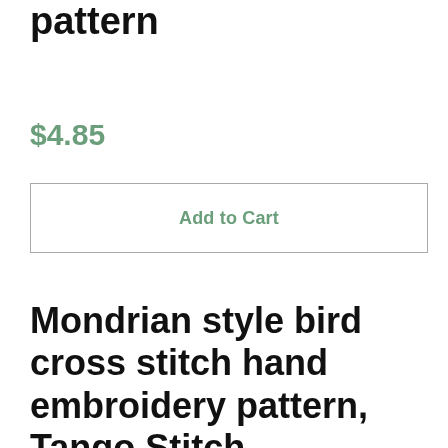pattern
$4.85
Add to Cart
Mondrian style bird cross stitch hand embroidery pattern, Tango Stitch